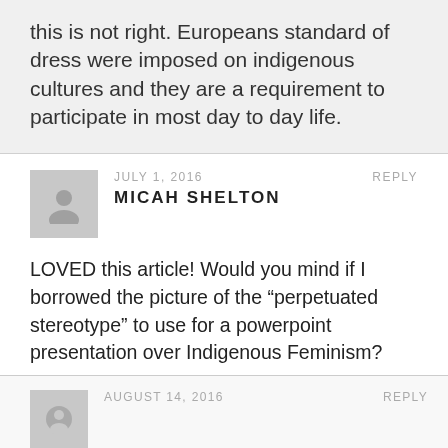this is not right. Europeans standard of dress were imposed on indigenous cultures and they are a requirement to participate in most day to day life.
JULY 1, 2016    REPLY
MICAH SHELTON
LOVED this article! Would you mind if I borrowed the picture of the “perpetrated stereotype” to use for a powerpoint presentation over Indigenous Feminism?
AUGUST 14, 2016    REPLY